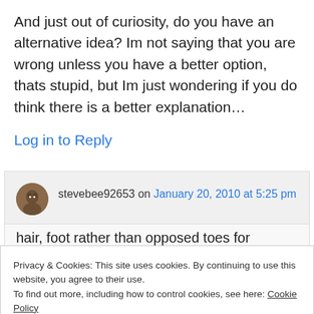And just out of curiosity, do you have an alternative idea? Im not saying that you are wrong unless you have a better option, thats stupid, but Im just wondering if you do think there is a better explanation…
Log in to Reply
stevebee92653 on January 20, 2010 at 5:25 pm
Privacy & Cookies: This site uses cookies. By continuing to use this website, you agree to their use. To find out more, including how to control cookies, see here: Cookie Policy
Close and accept
hair, foot rather than opposed toes for